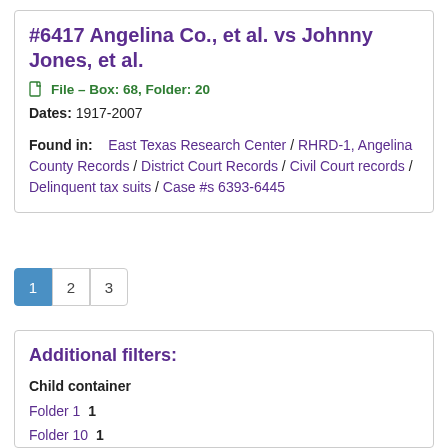#6417 Angelina Co., et al. vs Johnny Jones, et al.
File – Box: 68, Folder: 20
Dates: 1917-2007
Found in: East Texas Research Center / RHRD-1, Angelina County Records / District Court Records / Civil Court records / Delinquent tax suits / Case #s 6393-6445
1 2 3
Additional filters:
Child container
Folder 1  1
Folder 10  1
Folder 11  1